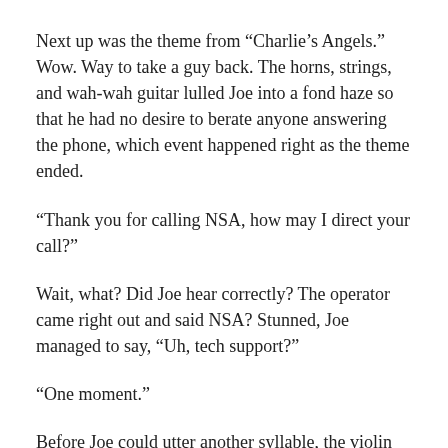Next up was the theme from “Charlie’s Angels.” Wow. Way to take a guy back. The horns, strings, and wah-wah guitar lulled Joe into a fond haze so that he had no desire to berate anyone answering the phone, which event happened right as the theme ended.
“Thank you for calling NSA, how may I direct your call?”
Wait, what? Did Joe hear correctly? The operator came right out and said NSA? Stunned, Joe managed to say, “Uh, tech support?”
“One moment.”
Before Joe could utter another syllable, the violin surge at the start of the theme from “Dallas” let him know that he was back on hold. His head was bobbing from left to right with the tune when a woman spoke, saying, “NSA technical support,